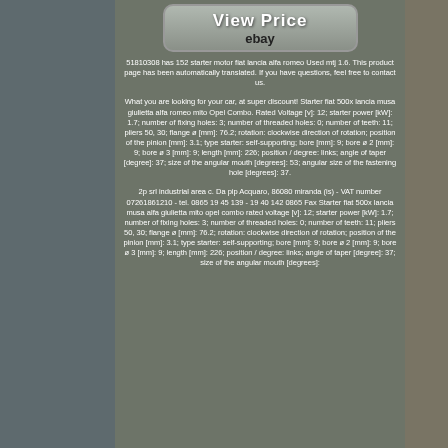[Figure (screenshot): eBay 'View Price' button with ebay logo on grey rounded rectangle background]
51810308 has 152 starter motor fiat lancia alfa romeo Used mtj 1.6. This product page has been automatically translated. If you have questions, feel free to contact us.
What you are looking for your car, at super discount! Starter fiat 500x lancia musa giulietta alfa romeo mito Opel Combo. Rated Voltage [v]: 12; starter power [kW]: 1.7; number of fixing holes: 3; number of threaded holes: 0; number of teeth: 11; pliers 50, 30; flange ø [mm]: 76.2; rotation: clockwise direction of rotation; position of the pinion [mm]: 3.1; type starter: self-supporting; bore [mm]: 9; bore ø 2 [mm]: 9; bore ø 3 [mm]: 9; length [mm]: 226; position / degree: links; angle of taper [degree]: 37; size of the angular mouth [degrees]: 53; angular size of the fastening hole [degrees]: 37.
2p srl industrial area c. Da pip Acquaro, 86080 miranda (is) - VAT number 07261861210 - tel. 0865 19 45 139 - 19 40 142 0865 Fax Starter fiat 500x lancia musa alfa giulietta mito opel combo rated voltage [v]: 12; starter power [kW]: 1.7; number of fixing holes: 3; number of threaded holes: 0; number of teeth: 11; pliers 50, 30; flange ø [mm]: 76.2; rotation: clockwise direction of rotation; position of the pinion [mm]: 3.1; type starter: self-supporting; bore [mm]: 9; bore ø 2 [mm]: 9; bore ø 3 [mm]: 9; length [mm]: 226; position / degree: links; angle of taper [degree]: 37; size of the angular mouth [degrees]: